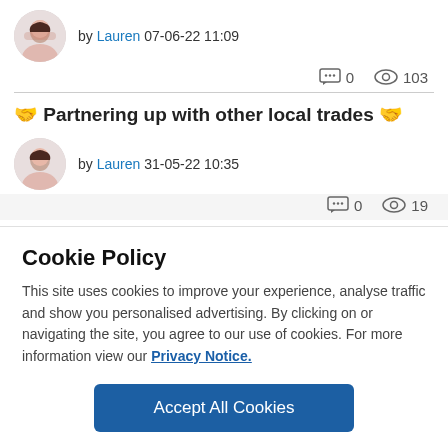by Lauren 07-06-22 11:09
0   103
🤝 Partnering up with other local trades 🤝
by Lauren 31-05-22 10:35
0   19
Cookie Policy
This site uses cookies to improve your experience, analyse traffic and show you personalised advertising. By clicking on or navigating the site, you agree to our use of cookies. For more information view our Privacy Notice.
Accept All Cookies